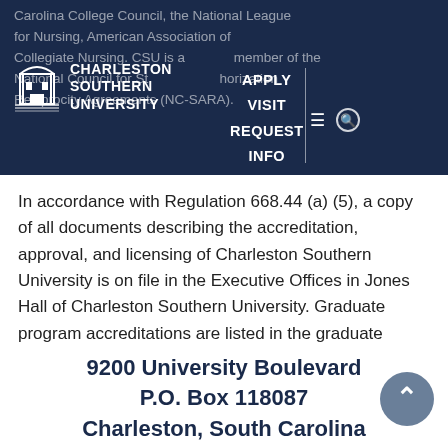Carolina College Council, the National League for Nursing, American Association of Collegiate Nursing. CSU is a member of the National Council for State Authorization Reciprocity Agreements (NC-SARA).
[Figure (logo): Charleston Southern University logo with building icon and text]
APPLY VISIT REQUEST INFO
In accordance with Regulation 668.44 (a) (5), a copy of all documents describing the accreditation, approval, and licensing of Charleston Southern University is on file in the Executive Offices in Jones Hall of Charleston Southern University. Graduate program accreditations are listed in the graduate catalog
9200 University Boulevard P.O. Box 118087 Charleston, South Carolina